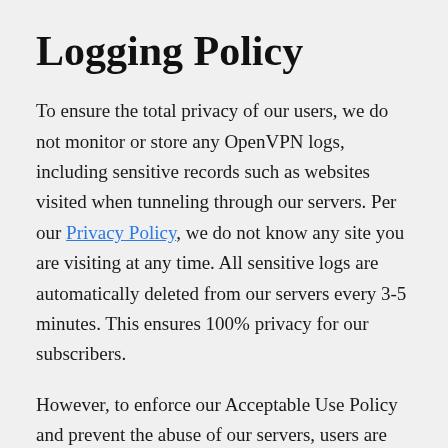Logging Policy
To ensure the total privacy of our users, we do not monitor or store any OpenVPN logs, including sensitive records such as websites visited when tunneling through our servers. Per our Privacy Policy, we do not know any site you are visiting at any time. All sensitive logs are automatically deleted from our servers every 3-5 minutes. This ensures 100% privacy for our subscribers.
However, to enforce our Acceptable Use Policy and prevent the abuse of our servers, users are solely responsible for the traffic that goes